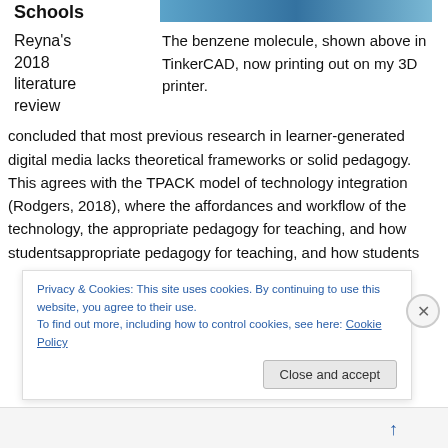Schools
[Figure (photo): Partial photo visible at top right, showing blue/teal colors, likely a 3D printed object or CAD rendering]
Reyna's 2018 literature review
The benzene molecule, shown above in TinkerCAD, now printing out on my 3D printer.
concluded that most previous research in learner-generated digital media lacks theoretical frameworks or solid pedagogy. This agrees with the TPACK model of technology integration (Rodgers, 2018), where the affordances and workflow of the technology, the appropriate pedagogy for teaching, and how students
Privacy & Cookies: This site uses cookies. By continuing to use this website, you agree to their use.
To find out more, including how to control cookies, see here: Cookie Policy
Close and accept